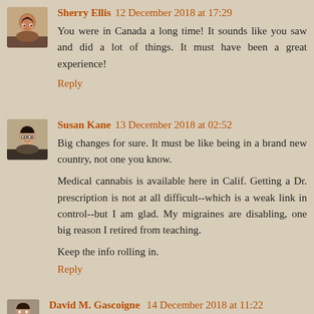[Figure (photo): Avatar photo of Sherry Ellis, a woman with dark hair]
Sherry Ellis 12 December 2018 at 17:29
You were in Canada a long time! It sounds like you saw and did a lot of things. It must have been a great experience!
Reply
[Figure (photo): Avatar photo of Susan Kane, a woman with dark hair and glasses]
Susan Kane 13 December 2018 at 02:52
Big changes for sure. It must be like being in a brand new country, not one you know.
Medical cannabis is available here in Calif. Getting a Dr. prescription is not at all difficult--which is a weak link in control--but I am glad. My migraines are disabling, one big reason I retired from teaching.
Keep the info rolling in.
Reply
[Figure (photo): Partial avatar photo of David M. Gascoigne]
David M. Gascoigne  14 December 2018 at 11:22